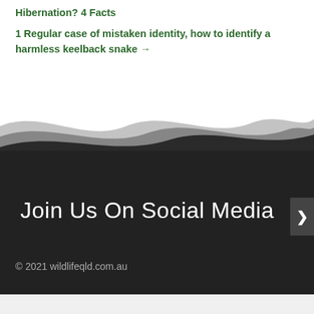Hibernation? 4 Facts
1 Regular case of mistaken identity, how to identify a harmless keelback snake →
[Figure (illustration): Wavy decorative divider transitioning from white to dark gray/black background, representing a website footer wave separator]
Join Us On Social Media
© 2021 wildlifeqld.com.au